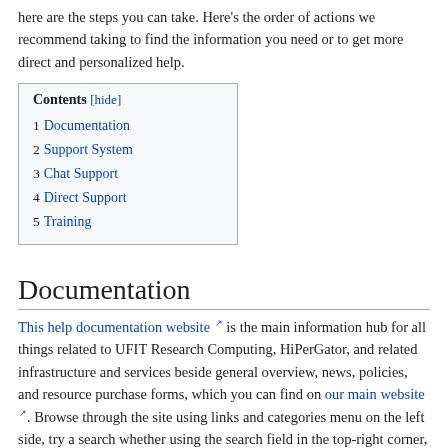here are the steps you can take. Here's the order of actions we recommend taking to find the information you need or to get more direct and personalized help.
| Contents [hide] |
| --- |
| 1 Documentation |
| 2 Support System |
| 3 Chat Support |
| 4 Direct Support |
| 5 Training |
Documentation
This help documentation website is the main information hub for all things related to UFIT Research Computing, HiPerGator, and related infrastructure and services beside general overview, news, policies, and resource purchase forms, which you can find on our main website. Browse through the site using links and categories menu on the left side, try a search whether using the search field in the top-right corner, or with a search engine by entering e.g.